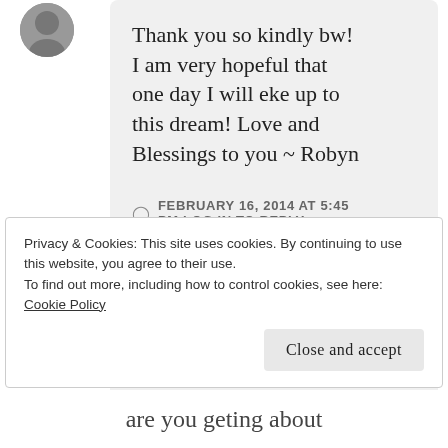[Figure (photo): Partial circular avatar photo visible at top-left]
Thank you so kindly bw! I am very hopeful that one day I will eke up to this dream! Love and Blessings to you ~ Robyn
FEBRUARY 16, 2014 AT 5:45 PM LOG IN TO REPLY
Privacy & Cookies: This site uses cookies. By continuing to use this website, you agree to their use. To find out more, including how to control cookies, see here: Cookie Policy
Close and accept
are you geting about